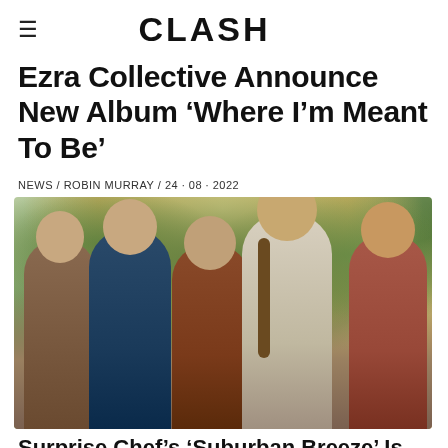CLASH
Ezra Collective Announce New Album 'Where I'm Meant To Be'
NEWS / ROBIN MURRAY / 24 · 08 · 2022
[Figure (photo): Group photo of five men standing outdoors in front of trees. Left to right: man in brown shirt, bald man in blue denim shirt, man in orange/rust shirt, man with long hair in light linen shirt, man in patterned shirt with reddish hair.]
Surprise Chef's 'Suburban Breeze' Is